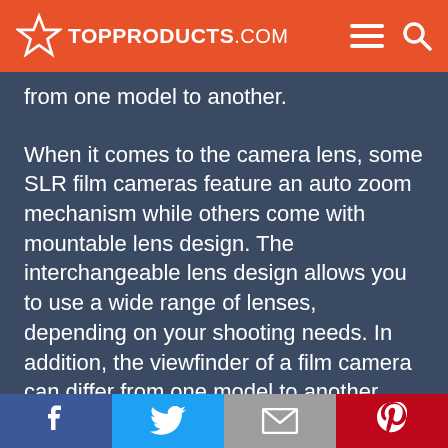TOP PRODUCTS .COM
from one model to another.
When it comes to the camera lens, some SLR film cameras feature an auto zoom mechanism while others come with mountable lens design. The interchangeable lens design allows you to use a wide range of lenses, depending on your shooting needs. In addition, the viewfinder of a film camera can differ from one model to another. Some of
Facebook | Twitter | Email | Pinterest